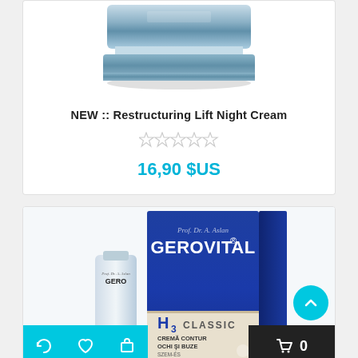[Figure (photo): Top portion of a skincare cream jar product, cropped at the top]
NEW :: Restructuring Lift Night Cream
[Figure (other): Five empty/unfilled star rating icons]
16,90 $US
[Figure (photo): Gerovital H3 Classic cream product box (dark blue) with small cream tube in front]